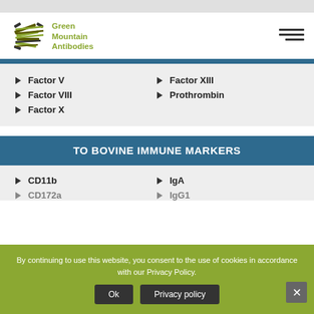[Figure (logo): Green Mountain Antibodies logo with stylized antibody graphic in green/olive and black, text reads Green Mountain Antibodies]
Factor V
Factor XIII
Factor VIII
Prothrombin
Factor X
TO BOVINE IMMUNE MARKERS
CD11b
IgA
CD172a
IgG1
By continuing to use this website, you consent to the use of cookies in accordance with our Privacy Policy.